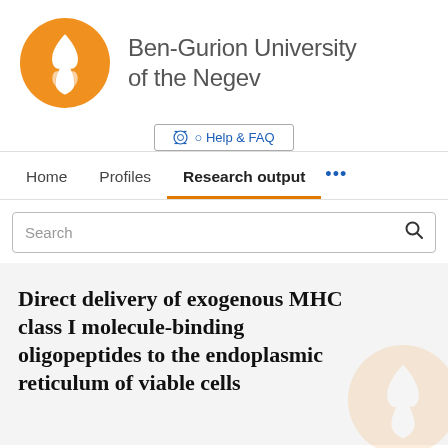[Figure (logo): Ben-Gurion University of the Negev logo: orange circle with white flame/torch symbol, and university name text to the right]
Help & FAQ
Home   Profiles   Research output   ...
Search
Direct delivery of exogenous MHC class I molecule-binding oligopeptides to the endoplasmic reticulum of viable cells